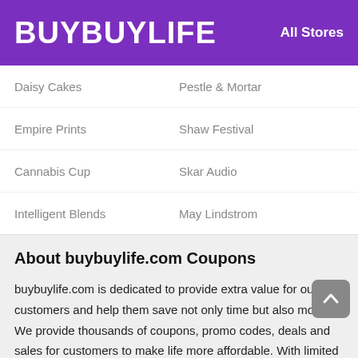BUYBUYLIFE   All Stores
Daisy Cakes    Pestle & Mortar
Empire Prints    Shaw Festival
Cannabis Cup    Skar Audio
Intelligent Blends    May Lindstrom
About buybuylife.com Coupons
buybuylife.com is dedicated to provide extra value for our customers and help them save not only time but also money. We provide thousands of coupons, promo codes, deals and sales for customers to make life more affordable. With limited money, you will be able to get more products, which makes you enjoy your life. We search the web for the best coupon codes and deals to help clients save money when they go online shopping. All of